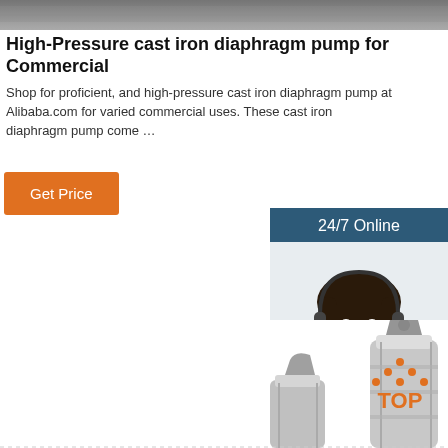[Figure (photo): Top banner photo - industrial background texture]
High-Pressure cast iron diaphragm pump for Commercial
Shop for proficient, and high-pressure cast iron diaphragm pump at Alibaba.com for varied commercial uses. These cast iron diaphragm pump come …
[Figure (other): Orange 'Get Price' button]
[Figure (photo): Chat widget: '24/7 Online' header, photo of female customer service representative wearing headset and smiling, 'Click here for free chat!' text, orange QUOTATION button]
[Figure (photo): Industrial pump product photo showing two metal cylinder pumps against white background]
[Figure (other): TOP badge with orange dots arranged in triangle above orange TOP text]